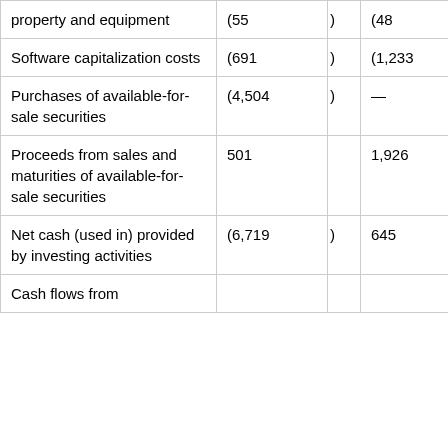| property and equipment | (55 | ) | (48 | ) |
| Software capitalization costs | (691 | ) | (1,233 | ) |
| Purchases of available-for-sale securities | (4,504 | ) | — |  |
| Proceeds from sales and maturities of available-for-sale securities | 501 |  | 1,926 |  |
| Net cash (used in) provided by investing activities | (6,719 | ) | 645 |  |
| Cash flows from |  |  |  |  |